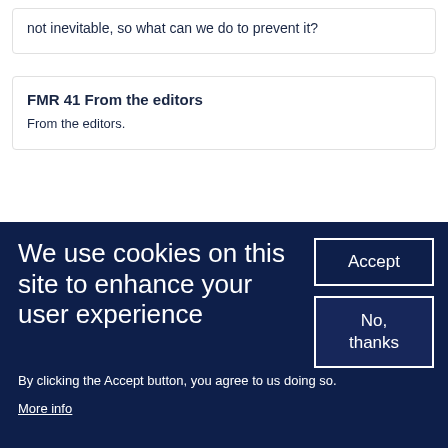not inevitable, so what can we do to prevent it?
FMR 41 From the editors
From the editors.
We use cookies on this site to enhance your user experience
By clicking the Accept button, you agree to us doing so.
More info